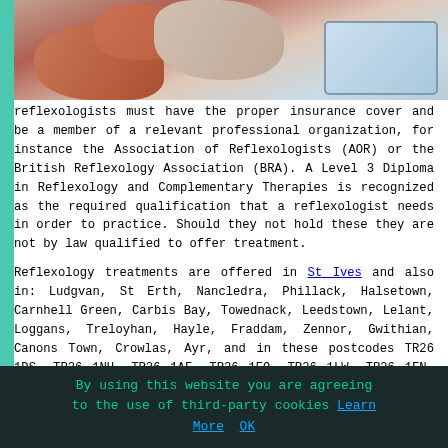[Figure (photo): Hands on a tablet/clipboard, consultation scene]
reflexologists must have the proper insurance cover and be a member of a relevant professional organization, for instance the Association of Reflexologists (AOR) or the British Reflexology Association (BRA). A Level 3 Diploma in Reflexology and Complementary Therapies is recognized as the required qualification that a reflexologist needs in order to practice. Should they not hold these they are not by law qualified to offer treatment.

Reflexology treatments are offered in St Ives and also in: Ludgvan, St Erth, Nancledra, Phillack, Halsetown, Carnhell Green, Carbis Bay, Towednack, Leedstown, Lelant, Loggans, Treloyhan, Hayle, Fraddam, Zennor, Gwithian, Canons Town, Crowlas, Ayr, and in these postcodes TR26 1DS, TR26 1NU, TR26 1AF, TR26 1EQ, TR26 1LW, TR26 1FN, TR26 1LZ, TR26 1QU, TR26 1DP, TR26 1QG. Local St Ives reflexologists will likely have the postcode PE27 and the phone code 01736. Verifying this should make certain that you're accessing
By using this website you are agreeing to the use of third-party cookies Learn More OK